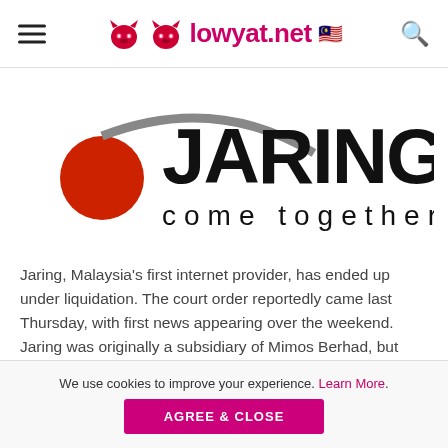lowyat.net
[Figure (logo): Jaring logo — red ball with curved grey line and the text JARING come together in large black letters]
Jaring, Malaysia's first internet provider, has ended up under liquidation. The court order reportedly came last Thursday, with first news appearing over the weekend. Jaring was originally a subsidiary of Mimos Berhad, but was eventually taken over by the Finance Ministry; it was under the Ministry that the company was sold to Utusan Printcorp.
We use cookies to improve your experience. Learn More.
AGREE & CLOSE